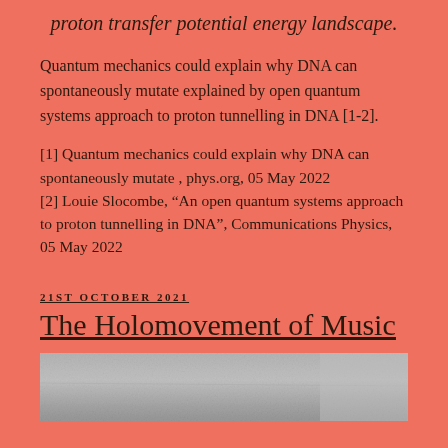proton transfer potential energy landscape.
Quantum mechanics could explain why DNA can spontaneously mutate explained by open quantum systems approach to proton tunnelling in DNA [1-2].
[1] Quantum mechanics could explain why DNA can spontaneously mutate , phys.org, 05 May 2022
[2] Louie Slocombe, “An open quantum systems approach to proton tunnelling in DNA“, Communications Physics, 05 May 2022
21ST OCTOBER 2021
The Holomovement of Music
[Figure (photo): Grayscale photograph, partially visible at the bottom of the page, showing a textured surface.]